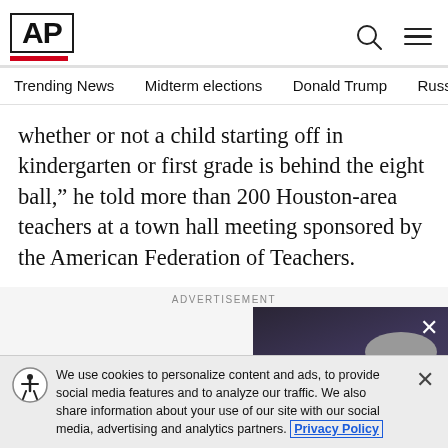AP
Trending News   Midterm elections   Donald Trump   Russia-Ukr
whether or not a child starting off in kindergarten or first grade is behind the eight ball,” he told more than 200 Houston-area teachers at a town hall meeting sponsored by the American Federation of Teachers.
[Figure (screenshot): Advertisement section with AP video player thumbnail showing a man with glasses, with pause and mute controls visible, and a close (X) button.]
We use cookies to personalize content and ads, to provide social media features and to analyze our traffic. We also share information about your use of our site with our social media, advertising and analytics partners. Privacy Policy